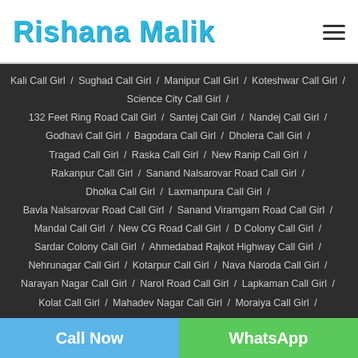Rishana Malik
Kali Call Girl / Sughad Call Girl / Manipur Call Girl / Koteshwar Call Girl / Science City Call Girl / 132 Feet Ring Road Call Girl / Santej Call Girl / Nandej Call Girl / Godhavi Call Girl / Bagodara Call Girl / Dholera Call Girl / Tragad Call Girl / Raska Call Girl / New Ranip Call Girl / Rakanpur Call Girl / Sanand Nalsarovar Road Call Girl / Dholka Call Girl / Laxmanpura Call Girl / Bavla Nalsarovar Road Call Girl / Sanand Viramgam Road Call Girl / Mandal Call Girl / New CG Road Call Girl / D Colony Call Girl / Sardar Colony Call Girl / Ahmedabad Rajkot Highway Call Girl / Nehrunagar Call Girl / Kotarpur Call Girl / Nava Naroda Call Girl / Narayan Nagar Call Girl / Narol Road Call Girl / Lapkaman Call Girl / Kolat Call Girl / Mahadev Nagar Call Girl / Moraiya Call Girl
Call Now | WhatsApp